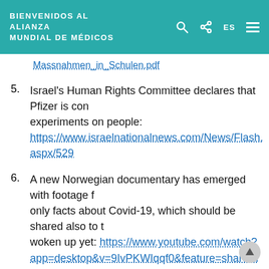BIENVENIDOS AL ALIANZA MUNDIAL DE MÉDICOS
Massnahmen_in_Schulen.pdf (partial URL)
5. Israel's Human Rights Committee declares that Pfizer is conducting experiments on people: https://www.israelnationalnews.com/News/Flash.aspx/529...
6. A new Norwegian documentary has emerged with footage f... only facts about Covid-19, which should be shared also to t... woken up yet: https://www.youtube.com/watch?app=desktop&v=9IvPKWIqqf0&feature=share&fbclid=IwAR2_RXJQPHDVNUNQ6Ny9qehskzQlAthrm03vhmzoUMP1z-...
7. On 20.1.21, the WHO has changed recommendations on the... test: Now it suddenly states that we skeptics were right all a... produces too many false positive results, with major financ...